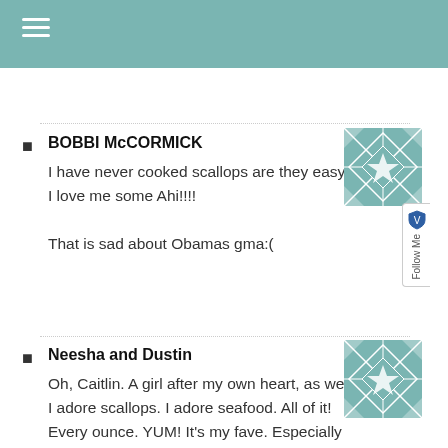BOBBI McCORMICK
I have never cooked scallops are they easy? I love me some Ahi!!!!

That is sad about Obamas gma:(
Neesha and Dustin
Oh, Caitlin. A girl after my own heart, as well…I adore scallops. I adore seafood. All of it! Every ounce. YUM! It's my fave. Especially tuna. My fi is